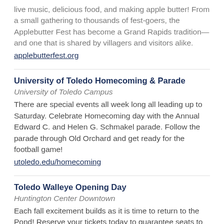live music, delicious food, and making apple butter! From a small gathering to thousands of fest-goers, the Applebutter Fest has become a Grand Rapids tradition—and one that is shared by villagers and visitors alike.
applebutterfest.org
University of Toledo Homecoming & Parade
University of Toledo Campus
There are special events all week long all leading up to Saturday. Celebrate Homecoming day with the Annual Edward C. and Helen G. Schmakel parade. Follow the parade through Old Orchard and get ready for the football game!
utoledo.edu/homecoming
Toledo Walleye Opening Day
Huntington Center Downtown
Each fall excitement builds as it is time to return to the Pond! Reserve your tickets today to guarantee seats to these can't-miss opening games. Along with the game, there is pregame party event with live